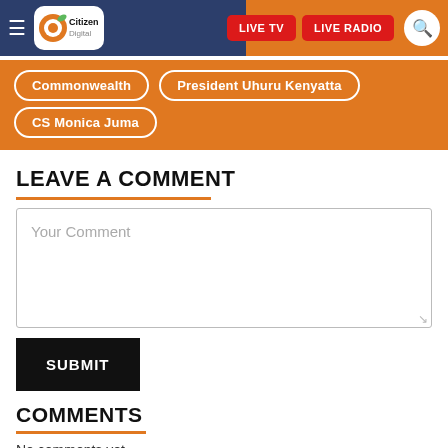[Figure (logo): Citizen Digital website header with logo, hamburger menu, LIVE TV and LIVE RADIO buttons, and search icon]
Commonwealth
President Uhuru Kenyatta
CS Monica Juma
LEAVE A COMMENT
Your Comment
SUBMIT
COMMENTS
No comments yet.